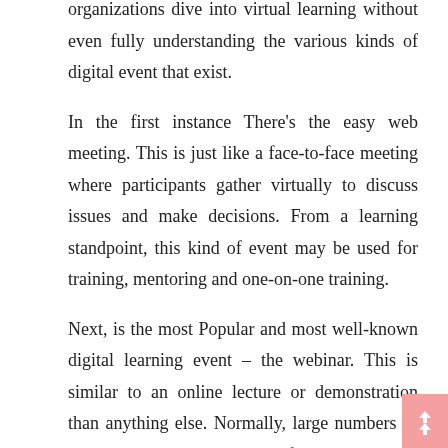organizations dive into virtual learning without even fully understanding the various kinds of digital event that exist.
In the first instance There's the easy web meeting. This is just like a face-to-face meeting where participants gather virtually to discuss issues and make decisions. From a learning standpoint, this kind of event may be used for training, mentoring and one-on-one training.
Next, is the most Popular and most well-known digital learning event – the webinar. This is similar to an online lecture or demonstration than anything else. Normally, large numbers of students can attend this sort of event since they are in 'listen only' mode. There's absolutely